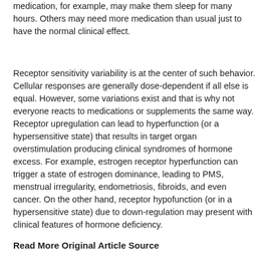medication, for example, may make them sleep for many hours. Others may need more medication than usual just to have the normal clinical effect.
Receptor sensitivity variability is at the center of such behavior. Cellular responses are generally dose-dependent if all else is equal. However, some variations exist and that is why not everyone reacts to medications or supplements the same way. Receptor upregulation can lead to hyperfunction (or a hypersensitive state) that results in target organ overstimulation producing clinical syndromes of hormone excess. For example, estrogen receptor hyperfunction can trigger a state of estrogen dominance, leading to PMS, menstrual irregularity, endometriosis, fibroids, and even cancer. On the other hand, receptor hypofunction (or in a hypersensitive state) due to down-regulation may present with clinical features of hormone deficiency.
Read More Original Article Source